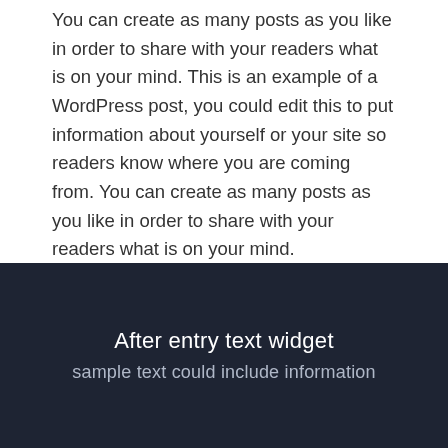You can create as many posts as you like in order to share with your readers what is on your mind. This is an example of a WordPress post, you could edit this to put information about yourself or your site so readers know where you are coming from. You can create as many posts as you like in order to share with your readers what is on your mind.
Filed Under: Category #1 — Tagged With: Unordered Lists
After entry text widget
sample text could include information